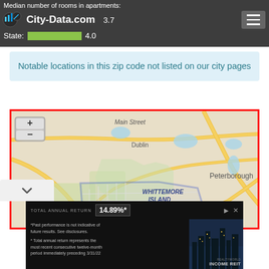Median number of rooms in apartments: Here: 3.7 State: 4.0
Notable locations in this zip code not listed on our city pages
[Figure (map): Interactive street map showing Dublin area with Whittemore Island highlighted in blue outline, showing Main Street, Peterborough label, zoom +/- controls, and surrounding road network]
[Figure (screenshot): Advertisement banner: TOTAL ANNUAL RETURN 14.89%* with city skyline photo and Income REIT logo. Disclaimer text: *Past performance is not indicative of future results. See disclosures. *Total annual return represents the most recent consecutive twelve-month period immediately preceding 3/31/22]